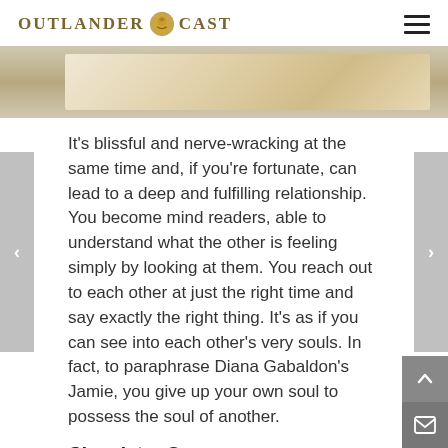OUTLANDER CAST
[Figure (photo): A beige/tan banner image with a golden/cream gradient background, partial view of a decorative or title image.]
It’s blissful and nerve-wracking at the same time and, if you’re fortunate, can lead to a deep and fulfilling relationship. You become mind readers, able to understand what the other is feeling simply by looking at them. You reach out to each other at just the right time and say exactly the right thing. It’s as if you can see into each other’s very souls. In fact, to paraphrase Diana Gabaldon’s Jamie, you give up your own soul to possess the soul of another.
Chemistry Onscreen